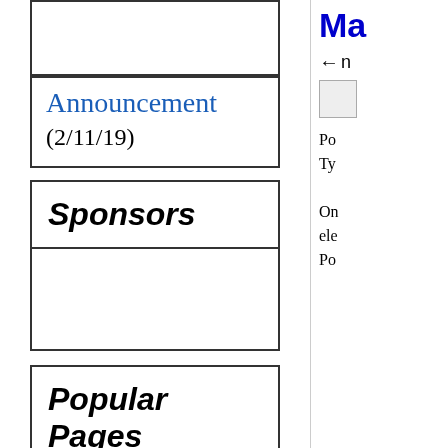Announcement (2/11/19)
Sponsors
Popular Pages
Pokémon Go
Ma
Po
Ty
On
ele
Po